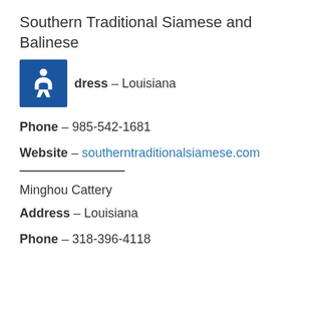Southern Traditional Siamese and Balinese
Address – Louisiana
Phone – 985-542-1681
Website – southerntraditionalsiamese.com
Minghou Cattery
Address – Louisiana
Phone – 318-396-4118